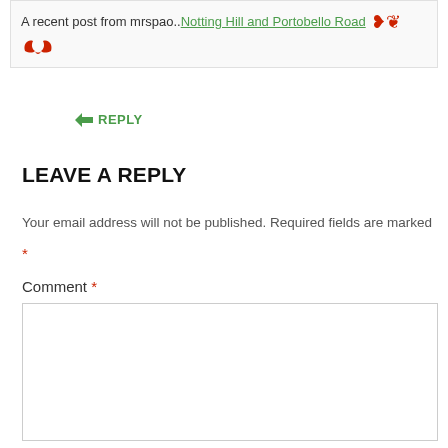A recent post from mrspao..Notting Hill and Portobello Road [wings icon]
↳ REPLY
LEAVE A REPLY
Your email address will not be published. Required fields are marked *
Comment *